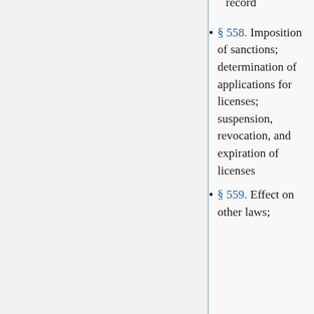record
§ 558. Imposition of sanctions; determination of applications for licenses; suspension, revocation, and expiration of licenses
§ 559. Effect on other laws;